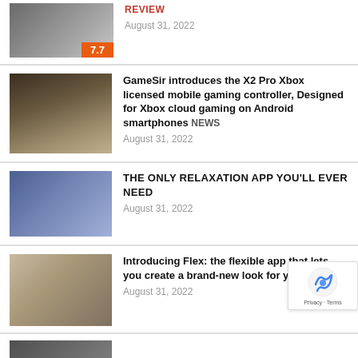[Figure (photo): Product photo with 7.7 score badge, top-cropped]
REVIEW
August 31, 2022
[Figure (photo): GameSir X2 Pro Xbox controller in carrying case on wooden surface]
GameSir introduces the X2 Pro Xbox licensed mobile gaming controller, Designed for Xbox cloud gaming on Android smartphones NEWS
August 31, 2022
[Figure (photo): iPhone with apps on screen against blue background]
THE ONLY RELAXATION APP YOU'LL EVER NEED
August 31, 2022
[Figure (photo): Flatlay of phone, headphones, coffee cup, books and plant]
Introducing Flex: the flexible app that lets you create a brand-new look for your iPhone.
August 31, 2022
[Figure (photo): Partially visible article thumbnail at bottom]